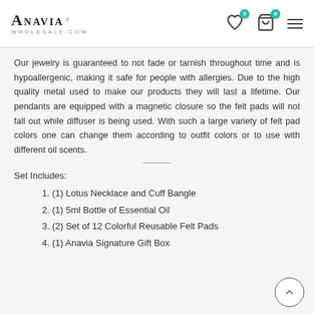Anavia Wholesale.com
Our jewelry is guaranteed to not fade or tarnish throughout time and is hypoallergenic, making it safe for people with allergies. Due to the high quality metal used to make our products they will last a lifetime. Our pendants are equipped with a magnetic closure so the felt pads will not fall out while diffuser is being used. With such a large variety of felt pad colors one can change them according to outfit colors or to use with different oil scents.
Set Includes:
(1) Lotus Necklace and Cuff Bangle
(1) 5ml Bottle of Essential Oil
(2) Set of 12 Colorful Reusable Felt Pads
(1) Anavia Signature Gift Box